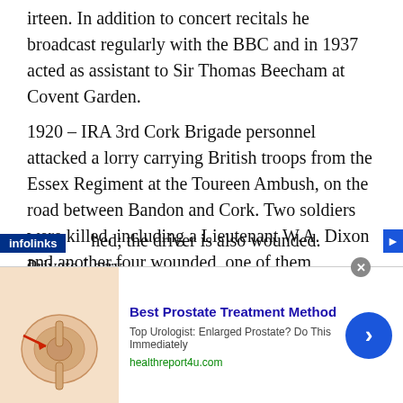irteen. In addition to concert recitals he broadcast regularly with the BBC and in 1937 acted as assistant to Sir Thomas Beecham at Covent Garden.
1920 – IRA 3rd Cork Brigade personnel attacked a lorry carrying British troops from the Essex Regiment at the Toureen Ambush, on the road between Bandon and Cork. Two soldiers were killed, including a Lieutenant W.A. Dixon and another four wounded, one of them mortally. Ten more were captured, disarmed and then released.
1922 – Two National Army soldiers are killed at Woodhouse, Co Waterford when their lorry is ambushed; the driver is also wounded. Private Larry
[Figure (infographic): Advertisement banner: 'Best Prostate Treatment Method' ad with medical illustration of prostate anatomy, subtext 'Top Urologist: Enlarged Prostate? Do This Immediately', URL 'healthreport4u.com', blue arrow button, infolinks badge, and close button.]